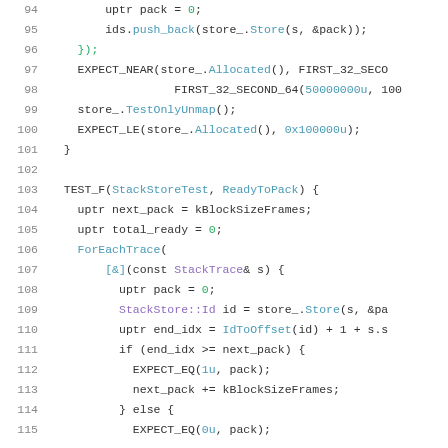[Figure (screenshot): Source code screenshot showing C++ test code lines 94-115 with syntax highlighting. Line numbers in gray on left, code with colored tokens on right.]